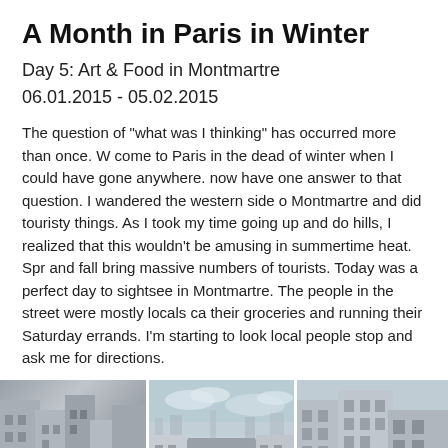A Month in Paris in Winter
Day 5: Art & Food in Montmartre
06.01.2015 - 05.02.2015
The question of "what was I thinking" has occurred more than once. W come to Paris in the dead of winter when I could have gone anywhere. now have one answer to that question. I wandered the western side o Montmartre and did touristy things. As I took my time going up and do hills, I realized that this wouldn't be amusing in summertime heat. Spr and fall bring massive numbers of tourists. Today was a perfect day to sightsee in Montmartre. The people in the street were mostly locals ca their groceries and running their Saturday errands. I'm starting to look local people stop and ask me for directions.
[Figure (photo): Three-panel photo strip of Montmartre streets: left panel shows a narrow street with buildings and 'Le Petit Parisien' sign; center panel shows a wide street view looking down Montmartre hills toward Paris skyline; right panel shows a residential street corner with Haussmann-style buildings.]